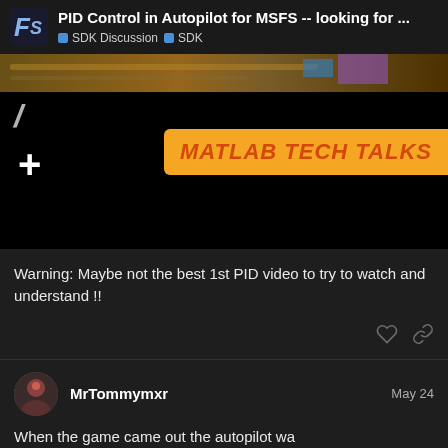PID Control in Autopilot for MSFS -- looking for ... | SDK Discussion | SDK
[Figure (screenshot): Video thumbnail showing MATLAB TECH TALKS branding on dark/orange background]
Warning: Maybe not the best 1st PID video to try to watch and understand !!
MrTommymxr  May 24
When the game came out the autopilot wa... mods i used mainly Proportional control ar...
15 / 17